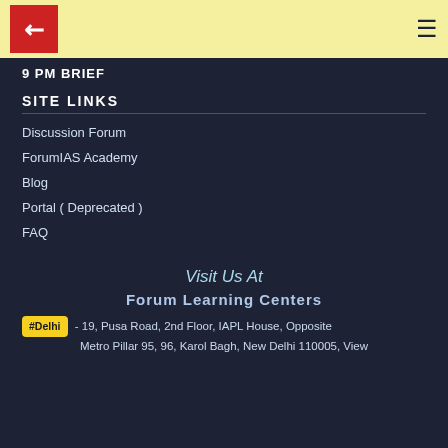9 PM BRIEF
SITE LINKS
Discussion Forum
ForumIAS Academy
Blog
Portal ( Deprecated )
FAQ
Visit Us At
Forum Learning Centers
#Delhi - 19, Pusa Road, 2nd Floor, IAPL House, Opposite Metro Pillar 95, 96, Karol Bagh, New Delhi 110005, View